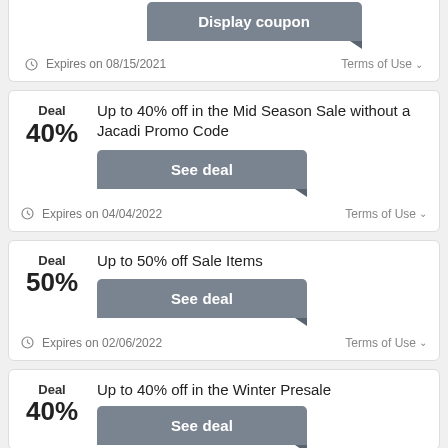[Figure (screenshot): Partially visible Display Coupon button at top of page]
Expires on 08/15/2021
Terms of Use
Deal 40%
Up to 40% off in the Mid Season Sale without a Jacadi Promo Code
See deal
Expires on 04/04/2022
Terms of Use
Deal 50%
Up to 50% off Sale Items
See deal
Expires on 02/06/2022
Terms of Use
Deal 40%
Up to 40% off in the Winter Presale
See deal